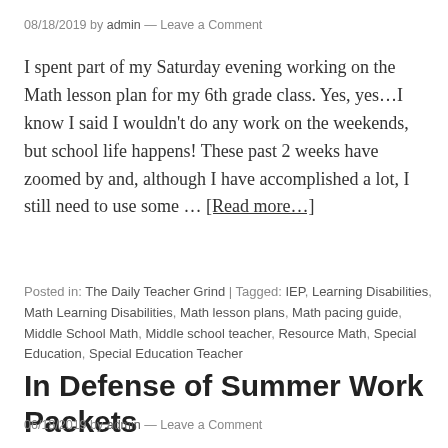08/18/2019 by admin — Leave a Comment
I spent part of my Saturday evening working on the Math lesson plan for my 6th grade class. Yes, yes…I know I said I wouldn't do any work on the weekends, but school life happens! These past 2 weeks have zoomed by and, although I have accomplished a lot, I still need to use some … [Read more…]
Posted in: The Daily Teacher Grind | Tagged: IEP, Learning Disabilities, Math Learning Disabilities, Math lesson plans, Math pacing guide, Middle School Math, Middle school teacher, Resource Math, Special Education, Special Education Teacher
In Defense of Summer Work Packets
06/18/2019 by admin — Leave a Comment